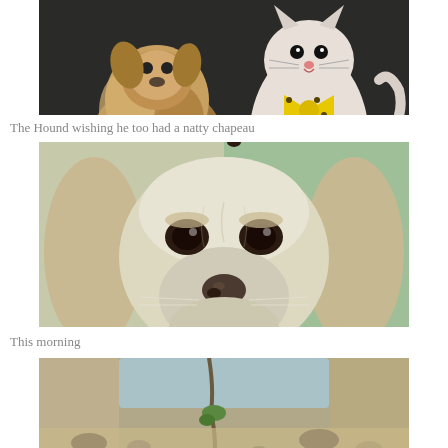[Figure (photo): Two ceramic animal figurines - a shaggy dog and a cat with a yellow polka-dot bow tie, on a dark background]
The Hound wishing he too had a natty chapeau
[Figure (photo): Close-up photo of a white/light-colored hound dog's face looking directly at camera]
This morning
[Figure (photo): Partial photo of what appears to be an outdoor scene, possibly a garden or stone surface]